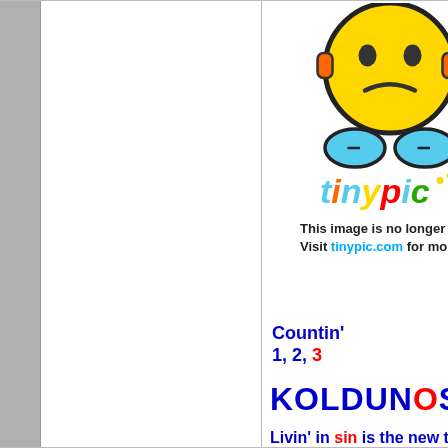[Figure (illustration): Tinypic broken image placeholder: a sad yellow emoji character with blue hands, with 'tinypic' logo text and message 'This image is no longer available. Visit tinypic.com for more information.']
Countin'
1, 2, 3
KOLDUNOSPI
Livin' in sin is the new thing
montenegrianlions1